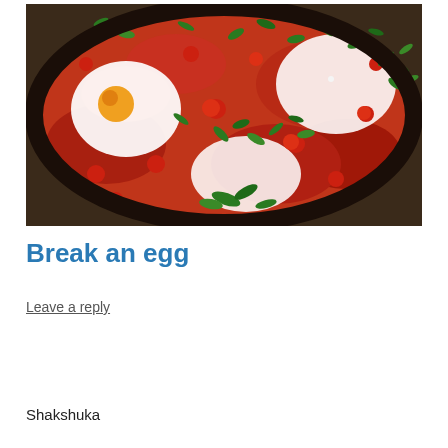[Figure (photo): Overhead close-up photo of a cast iron pan containing shakshuka: eggs poached in a red tomato sauce with cherry tomatoes, topped with fresh chopped green herbs (cilantro/parsley).]
Break an egg
Leave a reply
Shakshuka